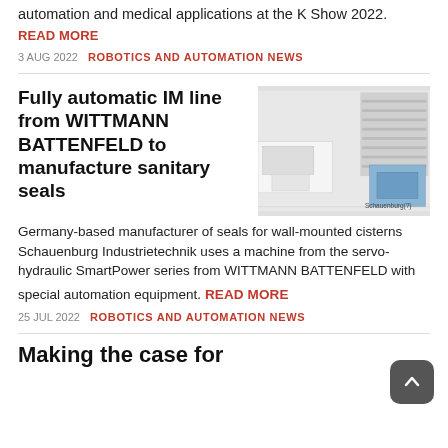automation and medical applications at the K Show 2022.
READ MORE
3 AUG 2022  ROBOTICS AND AUTOMATION NEWS
Fully automatic IM line from WITTMANN BATTENFELD to manufacture sanitary seals
[Figure (photo): Industrial injection molding machine in a factory setting, with blue and white machinery visible. Credit: Schauenburg(?)]
Germany-based manufacturer of seals for wall-mounted cisterns Schauenburg Industrietechnik uses a machine from the servo-hydraulic SmartPower series from WITTMANN BATTENFELD with special automation equipment. READ MORE
25 JUL 2022  ROBOTICS AND AUTOMATION NEWS
Making the case for